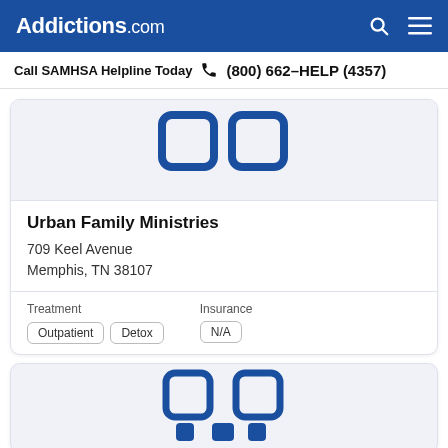Addictions.com
Call SAMHSA Helpline Today  (800) 662-HELP (4357)
[Figure (logo): Addictions.com placeholder logo icon in blue on light grey background, partially cropped at top]
Urban Family Ministries
709 Keel Avenue
Memphis, TN 38107
Treatment: Outpatient, Detox | Insurance: N/A
[Figure (logo): Addictions.com placeholder logo icon in blue on light grey background, partially visible at bottom of page]